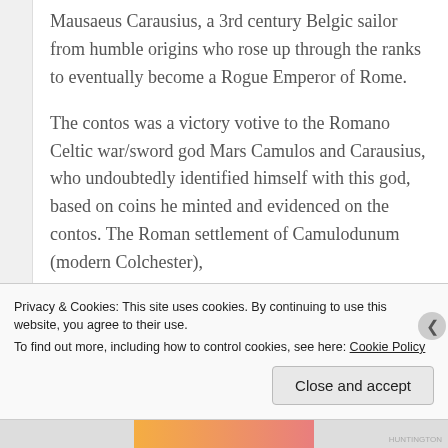Mausaeus Carausius, a 3rd century Belgic sailor from humble origins who rose up through the ranks to eventually become a Rogue Emperor of Rome.
The contos was a victory votive to the Romano Celtic war/sword god Mars Camulos and Carausius, who undoubtedly identified himself with this god, based on coins he minted and evidenced on the contos. The Roman settlement of Camulodunum (modern Colchester),
Privacy & Cookies: This site uses cookies. By continuing to use this website, you agree to their use.
To find out more, including how to control cookies, see here: Cookie Policy